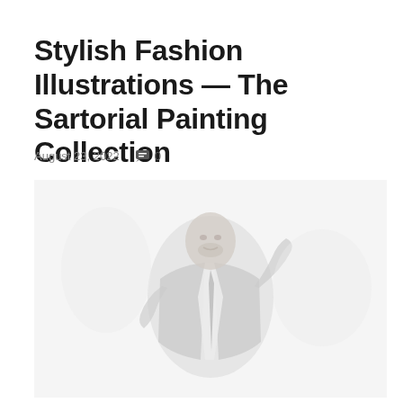Stylish Fashion Illustrations — The Sartorial Painting Collection
August 23, 2022   💬 0
[Figure (illustration): A faded/light grayscale fashion illustration of a well-dressed man in a suit and tie, appearing to be in motion or posing, rendered in a painterly style.]